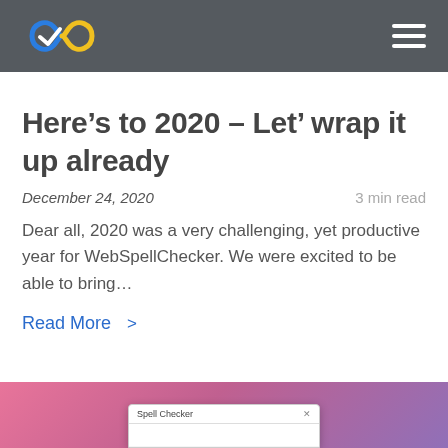WebSpellChecker header with logo and navigation menu
Here’s to 2020 – Let’ wrap it up already
December 24, 2020   3 min read
Dear all, 2020 was a very challenging, yet productive year for WebSpellChecker. We were excited to be able to bring…
Read More >
[Figure (screenshot): Partial view of a spell checker popup dialog with pink-purple gradient background]